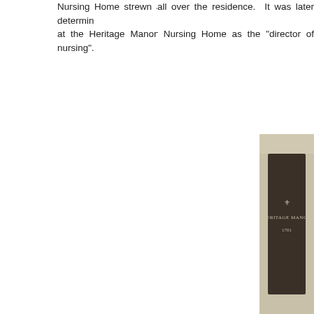Nursing Home strewn all over the residence. It was later determined at the Heritage Manor Nursing Home as the "director of nursing".
[Figure (photo): Photograph of the Heritage Manor 1701 entrance sign, a stone monument with dark marble panel bearing the words 'Heritage Manor 1701' in silver lettering with a decorative wheat/fleur-de-lis symbol above.]
The PD's narrative continues stating that "Police located hund packaged in individual baggies as if someone was preparing detectives were summoned to the scene in order to speak with t This was when the Popo determined that Bonnie worked at Abn teacher.